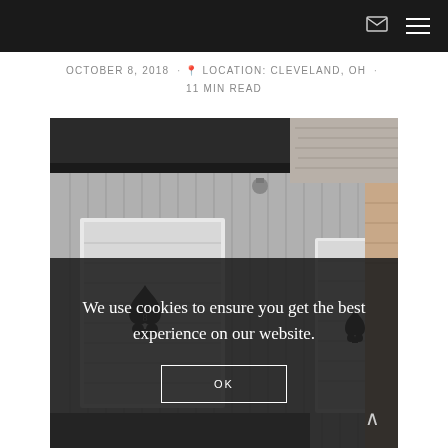Navigation bar with email icon and hamburger menu
OCTOBER 8, 2018 · 📍 LOCATION: CLEVELAND, OH · 11 MIN READ
[Figure (photo): Black and white photo of a building exterior with wooden siding, two white-framed garage doors, and ace of spades logo emblems. A light fixture is visible above. Brick wall partially visible on the right.]
We use cookies to ensure you get the best experience on our website.